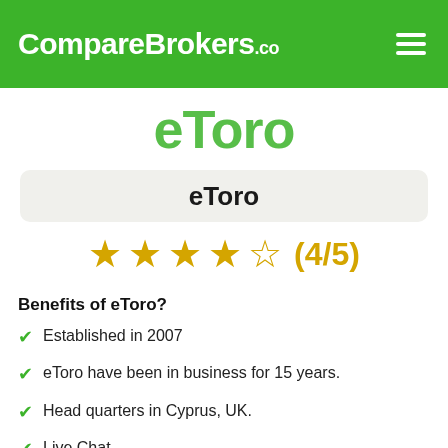CompareBrokers.co
[Figure (logo): eToro logo in green text]
eToro
★★★★☆ (4/5)
Benefits of eToro?
Established in 2007
eToro have been in business for 15 years.
Head quarters in Cyprus, UK.
Live Chat
Segregates clients funds